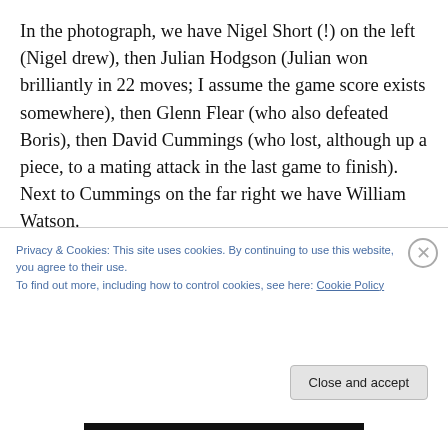In the photograph, we have Nigel Short (!) on the left (Nigel drew), then Julian Hodgson (Julian won brilliantly in 22 moves; I assume the game score exists somewhere), then Glenn Flear (who also defeated Boris), then David Cummings (who lost, although up a piece, to a mating attack in the last game to finish). Next to Cummings on the far right we have William Watson.
Suzzane Wood sent me this photograph in that very same year, 1979, and labeled it “Watch Out America, We’re as
Privacy & Cookies: This site uses cookies. By continuing to use this website, you agree to their use.
To find out more, including how to control cookies, see here: Cookie Policy
Close and accept